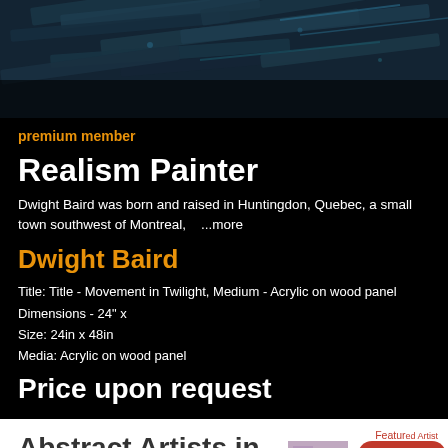[Figure (photo): Dark blue-toned photo of wooden beams or industrial structure from below]
premium member
Realism Painter
Dwight Baird was born and raised in Huntingdon, Quebec, a small town southwest of Montreal,    ...more
Dwight Baird
Title: Title - Movement in Twilight, Medium - Acrylic on wood panel
Dimensions - 24" x
Size: 24in x 48in
Media: Acrylic on wood panel
Price upon request
Abstract Artists in New Brunswick
Featured Artist
[Figure (photo): Small thumbnail of abstract artwork with pink/purple tones]